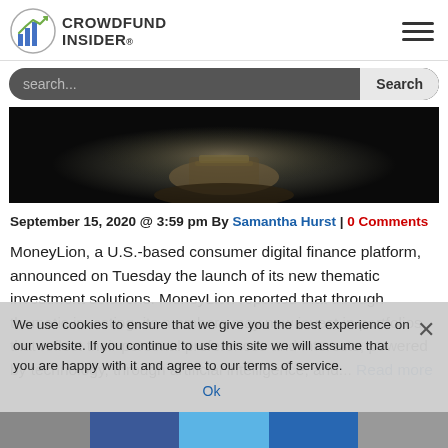CROWDFUND INSIDER
search...
[Figure (photo): Dark background photo showing hands holding cash/money]
September 15, 2020 @ 3:59 pm By Samantha Hurst | 0 Comments
MoneyLion, a U.S.-based consumer digital finance platform, announced on Tuesday the launch of its new thematic investment solutions. MoneyLion reported that through thematic investing, its members may now invest in portfolios that reflect their personal preferences and interests, powered by technology, through artificial intelligence, and... Read more
We use cookies to ensure that we give you the best experience on our website. If you continue to use this site we will assume that you are happy with it and agree to our terms of service. Ok